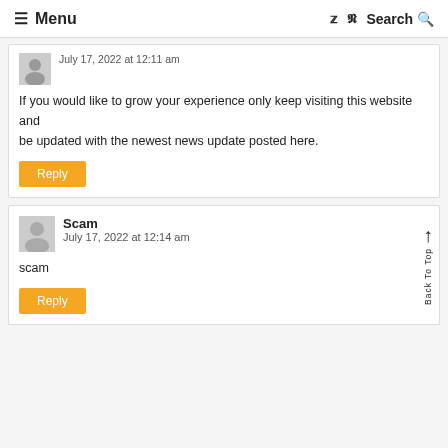≡ Menu | Search
July 17, 2022 at 12:11 am
If you would like to grow your experience only keep visiting this website and be updated with the newest news update posted here.
Reply
Scam
July 17, 2022 at 12:14 am
scam
Reply